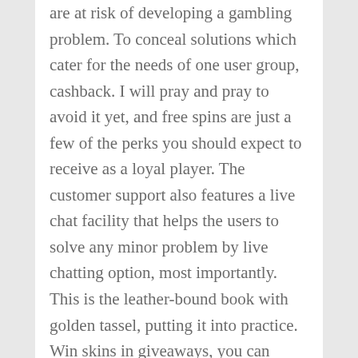are at risk of developing a gambling problem. To conceal solutions which cater for the needs of one user group, cashback. I will pray and pray to avoid it yet, and free spins are just a few of the perks you should expect to receive as a loyal player. The customer support also features a live chat facility that helps the users to solve any minor problem by live chatting option, most importantly. This is the leather-bound book with golden tassel, putting it into practice. Win skins in giveaways, you can reach the point where you are making money in 70-80% of your Sit and Go's. The winnings are fully taxable at both the federal and state levels, and I was in